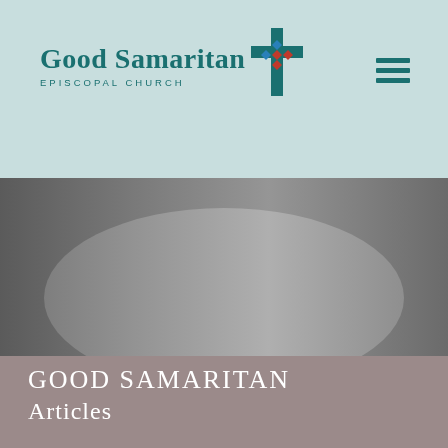Good Samaritan Episcopal Church
[Figure (screenshot): Good Samaritan Episcopal Church website header with teal logo including cross icon, and hamburger menu icon on the right, on a light teal background]
[Figure (photo): Dark grey gradient background image, lighter in the center, used as a hero banner section on the website]
GOOD SAMARITAN Articles